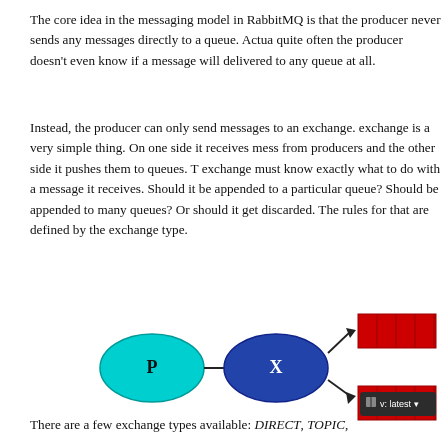The core idea in the messaging model in RabbitMQ is that the producer never sends any messages directly to a queue. Actually, quite often the producer doesn't even know if a message will be delivered to any queue at all.
Instead, the producer can only send messages to an exchange. An exchange is a very simple thing. On one side it receives messages from producers and the other side it pushes them to queues. The exchange must know exactly what to do with a message it receives. Should it be appended to a particular queue? Should it be appended to many queues? Or should it get discarded. The rules for that are defined by the exchange type.
[Figure (flowchart): Diagram showing a producer (P, cyan ellipse) sending to an exchange (X, dark blue ellipse) which routes messages to two queues (red segmented rectangles). A version badge 'v: latest' overlays the lower queue.]
There are a few exchange types available: DIRECT, TOPIC,